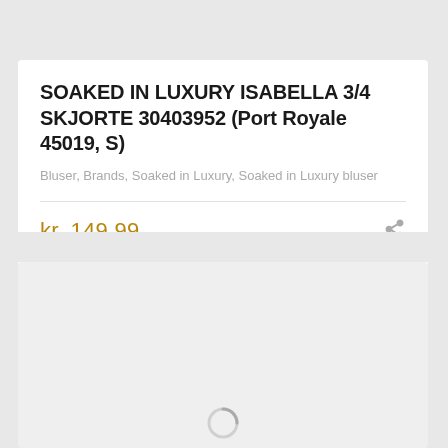SOAKED IN LUXURY ISABELLA 3/4 SKJORTE 30403952 (Port Royale 45019, S)
Bluser, Brands, Soaked in Luxury, Soaked in Luxury bluser
kr. 149.99
[Figure (other): Loading spinner on light grey background panel]